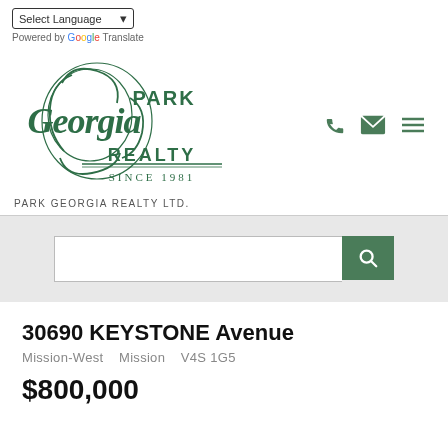Select Language
Powered by Google Translate
[Figure (logo): Park Georgia Realty logo with cursive script and 'SINCE 1981' tagline, dark green color]
PARK GEORGIA REALTY LTD.
30690 KEYSTONE Avenue
Mission-West   Mission   V4S 1G5
$800,000